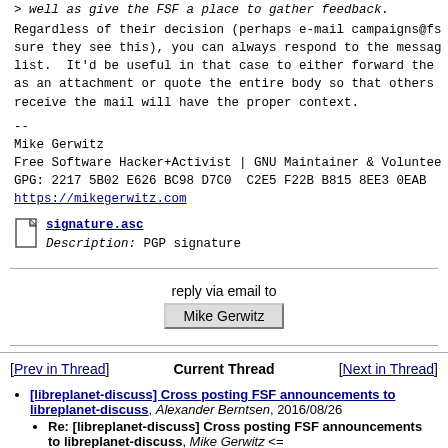> well as give the FSF a place to gather feedback.
Regardless of their decision (perhaps e-mail campaigns@fs sure they see this), you can always respond to the messag list.  It'd be useful in that case to either forward the as an attachment or quote the entire body so that others receive the mail will have the proper context.
--
Mike Gerwitz
Free Software Hacker+Activist | GNU Maintainer & Voluntee
GPG: 2217 5B02 E626 BC98 D7C0  C2E5 F22B B815 8EE3 0EAB
https://mikegerwitz.com
signature.asc
Description: PGP signature
reply via email to
Mike Gerwitz
[Prev in Thread]  Current Thread  [Next in Thread]
[libreplanet-discuss] Cross posting FSF announcements to libreplanet-discuss, Alexander Berntsen, 2016/08/26
Re: [libreplanet-discuss] Cross posting FSF announcements to libreplanet-discuss, Mike Gerwitz <=